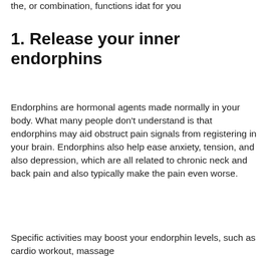the, or combination, functions idat for you
1. Release your inner endorphins
Endorphins are hormonal agents made normally in your body. What many people don't understand is that endorphins may aid obstruct pain signals from registering in your brain. Endorphins also help ease anxiety, tension, and also depression, which are all related to chronic neck and back pain and also typically make the pain even worse.
Specific activities may boost your endorphin levels, such as cardio workout, massage